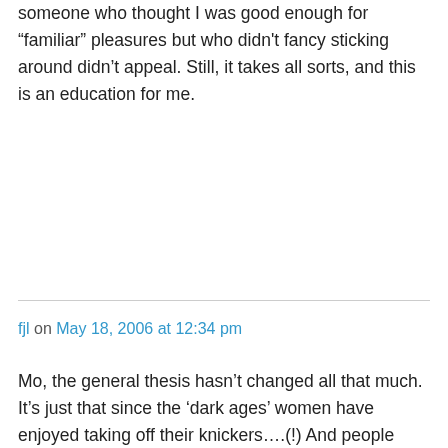someone who thought I was good enough for “familiar” pleasures but who didn't fancy sticking around didn’t appeal. Still, it takes all sorts, and this is an education for me.
fjl on May 18, 2006 at 12:34 pm
Mo, the general thesis hasn’t changed all that much. It’s just that since the ‘dark ages’ women have enjoyed taking off their knickers….(!) And people have learned that there’s a big difference between being careful and being prejudiced. Nb pre-pill era was as sexually active as today, it made no real difference. Victorian era even more so. ( Then there are a ton of other era related issues.) Fella’s awful attitudes take us